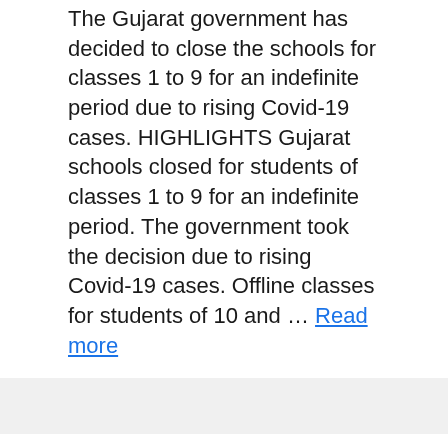The Gujarat government has decided to close the schools for classes 1 to 9 for an indefinite period due to rising Covid-19 cases. HIGHLIGHTS Gujarat schools closed for students of classes 1 to 9 for an indefinite period. The government took the decision due to rising Covid-19 cases. Offline classes for students of 10 and … Read more
Royal Enfield Classic 350, Bullet 350, Meteor 350, others: Domestic wholesales